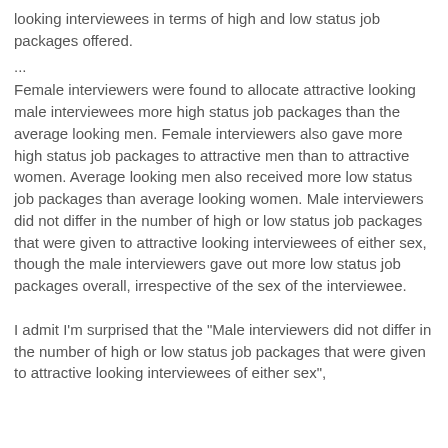looking interviewees in terms of high and low status job packages offered.
...
Female interviewers were found to allocate attractive looking male interviewees more high status job packages than the average looking men. Female interviewers also gave more high status job packages to attractive men than to attractive women. Average looking men also received more low status job packages than average looking women. Male interviewers did not differ in the number of high or low status job packages that were given to attractive looking interviewees of either sex, though the male interviewers gave out more low status job packages overall, irrespective of the sex of the interviewee.
I admit I'm surprised that the "Male interviewers did not differ in the number of high or low status job packages that were given to attractive looking interviewees of either sex",